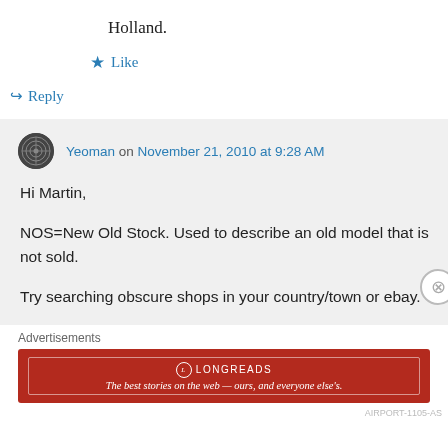Holland.
★ Like
↪ Reply
Yeoman on November 21, 2010 at 9:28 AM
Hi Martin,

NOS=New Old Stock. Used to describe an old model that is not sold.

Try searching obscure shops in your country/town or ebay.
Advertisements
[Figure (other): Longreads advertisement banner: red background with Longreads logo and tagline 'The best stories on the web — ours, and everyone else's.']
AIRPORT-1105-AS